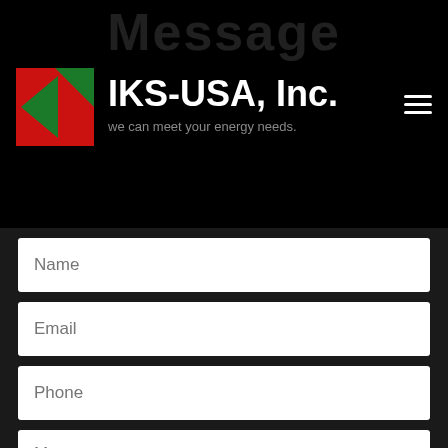[Figure (logo): IKS-USA Inc. logo: red square with green triangle pointing left, forming an arrow/chevron shape]
IKS-USA, Inc.
we can meet your energy needs.
Name (placeholder form field)
Email (placeholder form field)
Phone (placeholder form field)
Message (placeholder form field)
Send